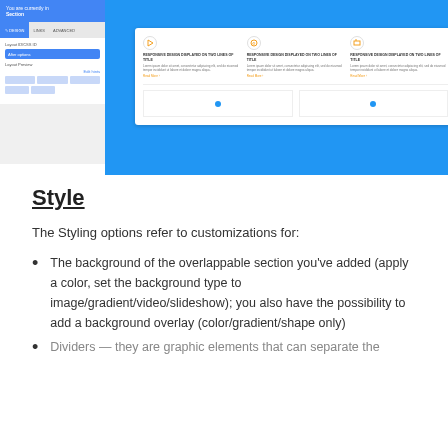[Figure (screenshot): UI screenshot showing a page builder interface with a left panel containing layout options and tabs, and a right area showing a blue background with a white card overlay displaying three columns with icons, titles, body text, and 'Read More' links, plus a bottom row with two empty columns containing blue dots.]
Style
The Styling options refer to customizations for:
The background of the overlappable section you've added (apply a color, set the background type to image/gradient/video/slideshow); you also have the possibility to add a background overlay (color/gradient/shape only)
Dividers — they are graphic elements that can separate the...